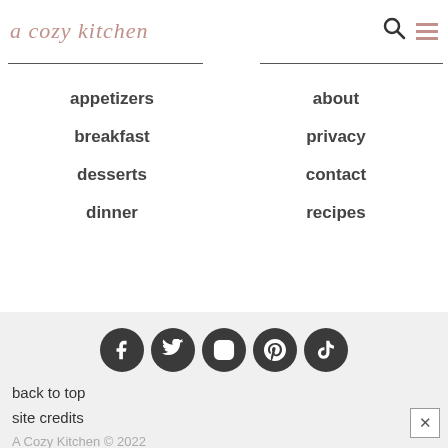a cozy kitchen
appetizers
breakfast
desserts
dinner
about
privacy
contact
recipes
[Figure (infographic): Social media icons row: Facebook, Twitter, Instagram, Pinterest, TikTok]
back to top
site credits
A Cozy Kitchen © 2022